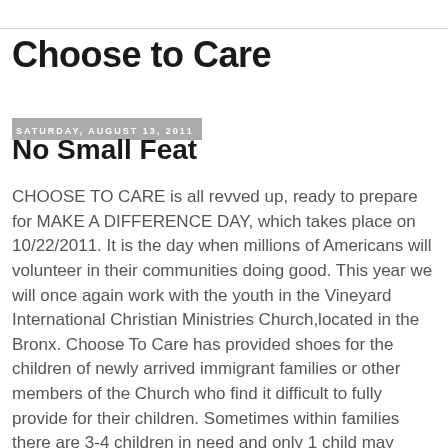Choose to Care
Saturday, August 13, 2011
No Small Feat
CHOOSE TO CARE is all revved up, ready to prepare for MAKE A DIFFERENCE DAY, which takes place on 10/22/2011. It is the day when millions of Americans will volunteer in their communities doing good. This year we will once again work with the youth in the Vineyard International Christian Ministries Church,located in the Bronx. Choose To Care has provided shoes for the children of newly arrived immigrant families or other members of the Church who find it difficult to fully provide for their children. Sometimes within families there are 3-4 children in need and only 1 child may receive so that other families can also benefit. The Coordinator weighs the needs and at times boys will receive while girls have to wait their turn or vice versa. On MAKE A DIFFERENCE Day we would like to make a difference in the